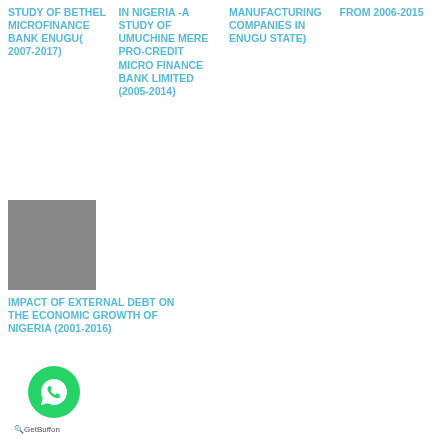STUDY OF BETHEL MICROFINANCE BANK ENUGU(2007-2017)
IN NIGERIA -A STUDY OF UMUCHINMERE PRO-CREDIT MICRO FINANCE BANK LIMITED (2005-2014)
MANUFACTURING COMPANIES IN ENUGU STATE)
FROM 2006-2015
[Figure (photo): Gray thumbnail image placeholder]
IMPACT OF EXTERNAL DEBT ON THE ECONOMIC GROWTH OF NIGERIA (2001-2016)